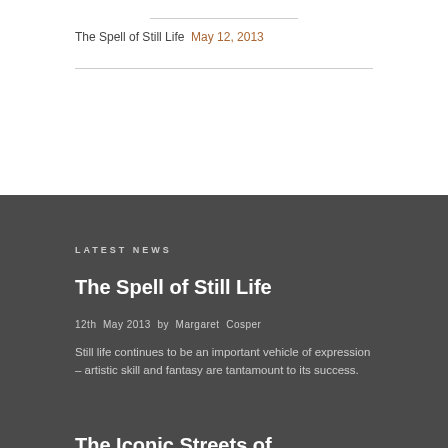The Spell of Still Life  May 12, 2013
LATEST NEWS
The Spell of Still Life
12th May 2013 by Margaret Cosper
Still life continues to be an important vehicle of expression – artistic skill and fantasy are tantamount to its success.
The Iconic Streets of Downtown Hinsdale, IL
10th May 2013 by Margaret Cosper
Looking SW from the corner of Hinsdale Ave & Washington St, the picturesque village of Hinsdale mirrors the extraordinary populace it represents